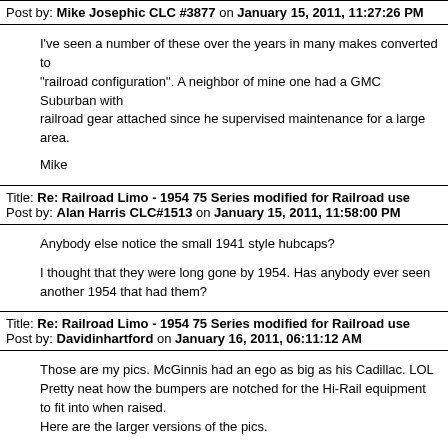Post by: Mike Josephic CLC #3877 on January 15, 2011, 11:27:26 PM
I've seen a number of these over the years in many makes converted to "railroad configuration". A neighbor of mine one had a GMC Suburban with railroad gear attached since he supervised maintenance for a large area.

Mike
Title: Re: Railroad Limo - 1954 75 Series modified for Railroad use
Post by: Alan Harris CLC#1513 on January 15, 2011, 11:58:00 PM
Anybody else notice the small 1941 style hubcaps?

I thought that they were long gone by 1954. Has anybody ever seen another 1954 that had them?
Title: Re: Railroad Limo - 1954 75 Series modified for Railroad use
Post by: Davidinhartford on January 16, 2011, 06:11:12 AM
Those are my pics.  McGinnis had an ego as big as his Cadillac.   LOL
Pretty neat how the bumpers are notched for the Hi-Rail equipment to fit into when raised.
Here are the larger versions of the pics.